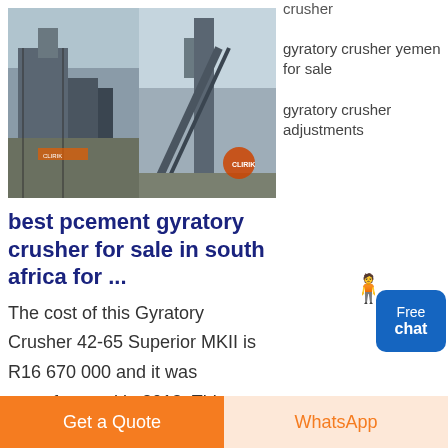crusher
gyratory crusher yemen for sale
gyratory crusher adjustments
[Figure (photo): Two photos of industrial gyratory crusher / mining plant equipment]
best pcement gyratory crusher for sale in south africa for ...
The cost of this Gyratory Crusher 42-65 Superior MKII is R16 670 000 and it was manufactured in 2013. This machine can be found in Zambia South Africa. On Mascus.co.za you can find Gyratory Crusher 42-65 Superior MKII and
Free chat
Get a Quote
WhatsApp